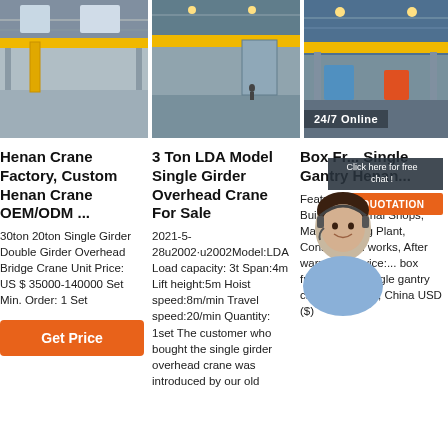[Figure (photo): Industrial warehouse interior with yellow overhead crane — left image]
[Figure (photo): Warehouse interior with yellow overhead crane — center image]
[Figure (photo): Industrial factory with overhead crane, 24/7 Online badge — right image]
Henan Crane Factory, Custom Henan Crane OEM/ODM ...
30ton 20ton Single Girder Double Girder Overhead Bridge Crane Unit Price: US $ 35000-140000 Set Min. Order: 1 Set
[Figure (other): Get Price orange button]
3 Ton LDA Model Single Girder Overhead Crane For Sale
2021-5-28u2002·u2002Model:LDA Load capacity: 3t Span:4m Lift height:5m Hoist speed:8m/min Travel speed:20/min Quantity: 1set The customer who bought the single girder overhead crane was introduced by our old
Box Fr... Single Gantry Henan...
Features... industries. Building Material Shops, Manufacturing Plant, Construction works, After warranty service:... box frame 30ton single gantry crane in Henan, China USD ($)
[Figure (other): Chat overlay — 24/7 Online person with headset, Click here for free chat! and QUOTATION button]